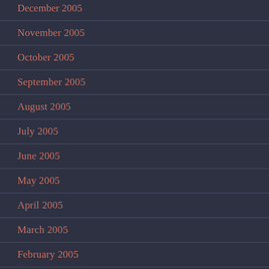December 2005
November 2005
October 2005
September 2005
August 2005
July 2005
June 2005
May 2005
April 2005
March 2005
February 2005
January 2005